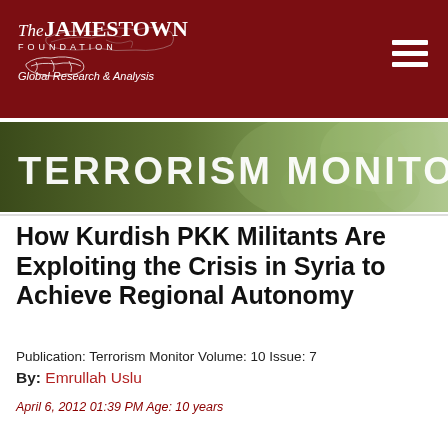The Jamestown Foundation — Global Research & Analysis
[Figure (logo): Terrorism Monitor banner with dark olive/green gradient background and large white text reading TERRORISM MONITOR]
How Kurdish PKK Militants Are Exploiting the Crisis in Syria to Achieve Regional Autonomy
Publication: Terrorism Monitor Volume: 10 Issue: 7
By: Emrullah Uslu
April 6, 2012 01:39 PM Age: 10 years